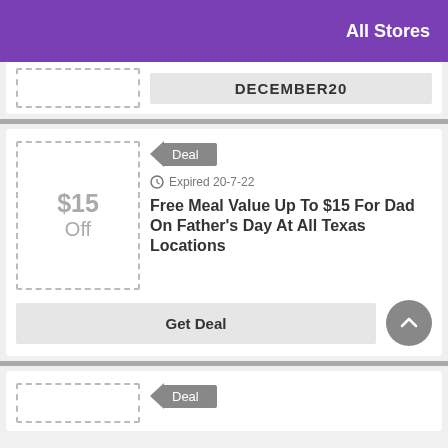All Stores
DECEMBER20
[Figure (other): Deal badge with arrow pointing left, showing 'Deal' label, with expired date 20-7-22, coupon for Free Meal Value Up To $15 For Dad On Father's Day At All Texas Locations, Get Deal button, scroll-to-top button]
[Figure (other): Partial deal card at bottom with Deal badge]